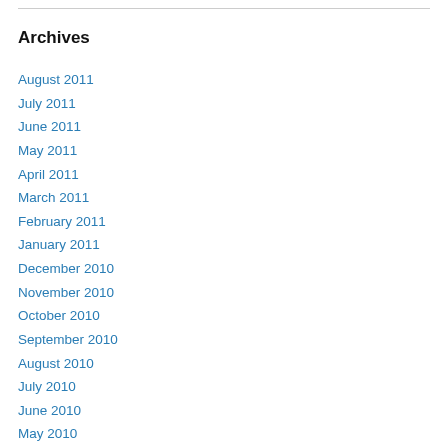Archives
August 2011
July 2011
June 2011
May 2011
April 2011
March 2011
February 2011
January 2011
December 2010
November 2010
October 2010
September 2010
August 2010
July 2010
June 2010
May 2010
April 2010